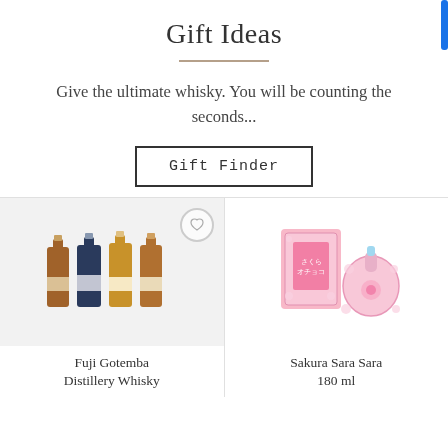Gift Ideas
Give the ultimate whisky. You will be counting the seconds...
Gift Finder
[Figure (photo): Fuji Gotemba Distillery whisky miniature bottles set on grey background with heart icon]
Fuji Gotemba Distillery Whisky
[Figure (photo): Sakura Sara Sara 180ml pink Japanese sake bottle with cherry blossom box packaging on white background]
Sakura Sara Sara 180 ml